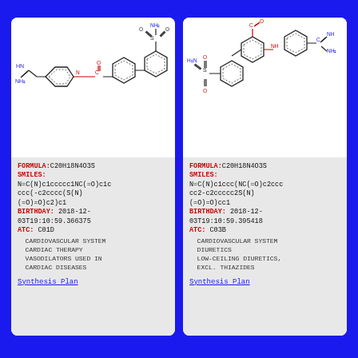[Figure (other): Chemical structure of a biphenyl compound with amidino and sulfonamide groups (left card)]
FORMULA: C20H18N4O3S
SMILES:
N=C(N)c1ccccc1NC(=O)c1cccc(-c2cccc(S(N)(=O)=O)c2)c1
BIRTHDAY: 2018-12-03T19:10:59.366375
ATC: C01D
CARDIOVASCULAR SYSTEM
CARDIAC THERAPY
VASODILATORS USED IN CARDIAC DISEASES
Synthesis Plan
[Figure (other): Chemical structure of a biphenyl compound with amidino and sulfonamide groups (right card)]
FORMULA: C20H18N4O3S
SMILES:
N=C(N)c1ccc(NC(=O)c2cccc(-c2ccccc2S(N)(=O)=O)cc1
BIRTHDAY: 2018-12-03T19:10:59.395418
ATC: C03B
CARDIOVASCULAR SYSTEM
DIURETICS
LOW-CEILING DIURETICS, EXCL. THIAZIDES
Synthesis Plan